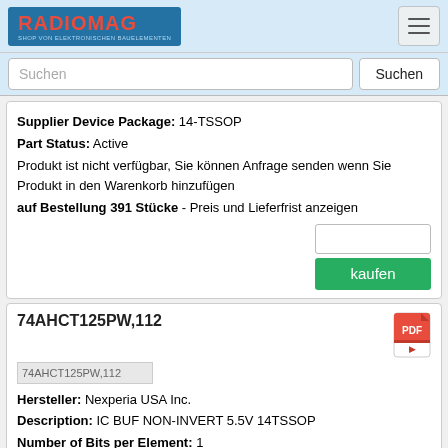RADIOMAG - SHOP VON ELEKTRONISCHEN BAUELEMENTEN
Suchen
Supplier Device Package: 14-TSSOP
Part Status: Active
Produkt ist nicht verfügbar, Sie können Anfrage senden wenn Sie Produkt in den Warenkorb hinzufügen
auf Bestellung 391 Stücke - Preis und Lieferfrist anzeigen
kaufen
74AHCT125PW,112
Hersteller: Nexperia USA Inc.
Description: IC BUF NON-INVERT 5.5V 14TSSOP
Number of Bits per Element: 1
Voltage - Supply: 4.5V ~ 5.5V
Operating Temperature: -40°C ~ 125°C (TA)
Logic Type: Buffer, Non-Inverting
Number of Elements: 4
Mounting Type: Surface Mount
Output Type: 3 State